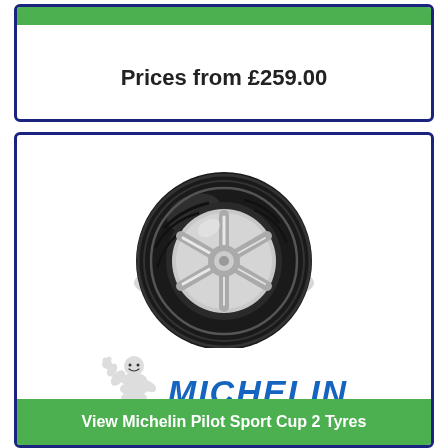Prices from £259.00
[Figure (photo): Michelin Pilot Sport Cup 2 tyre with alloy wheel, product photo]
[Figure (logo): Michelin logo with Bibendum mascot and yellow underline]
Pilot Sport Cup 2
View Michelin Pilot Sport Cup 2 Tyres